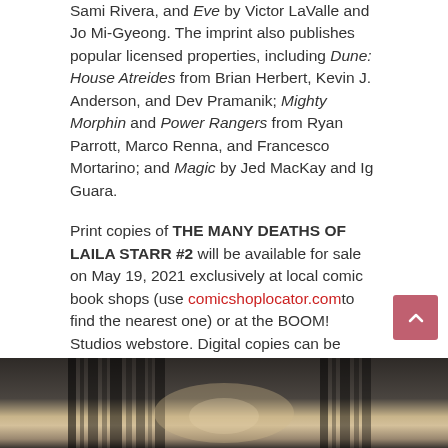Sami Rivera, and Eve by Victor LaValle and Jo Mi-Gyeong. The imprint also publishes popular licensed properties, including Dune: House Atreides from Brian Herbert, Kevin J. Anderson, and Dev Pramanik; Mighty Morphin and Power Rangers from Ryan Parrott, Marco Renna, and Francesco Mortarino; and Magic by Jed MacKay and Ig Guara.
Print copies of THE MANY DEATHS OF LAILA STARR #2 will be available for sale on May 19, 2021 exclusively at local comic book shops (use comicshoplocator.com to find the nearest one) or at the BOOM! Studios webstore. Digital copies can be purchased from content providers, including comiXology, iBooks, Google Play, and Madefire.
For continuing news on THE MANY DEATHS OF LAILA STARR and more from BOOM! Studios, stay tuned to www.boom-studios.com and follow @boomstudios on Twitter.
[Figure (photo): Partial view of a dark dramatic image, appears to be comic book cover art with dark metallic or architectural elements and a warm-toned central glow.]